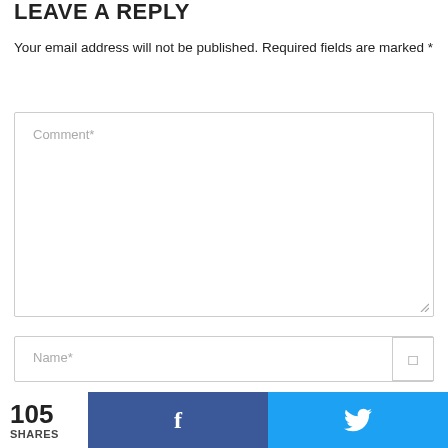LEAVE A REPLY
Your email address will not be published. Required fields are marked *
[Figure (screenshot): Comment text area input box with placeholder text 'Comment*']
[Figure (screenshot): Name input field with placeholder text 'Name*']
[Figure (screenshot): Email input field with placeholder text 'Email*']
105 SHARES  [Facebook share button]  [Twitter share button]